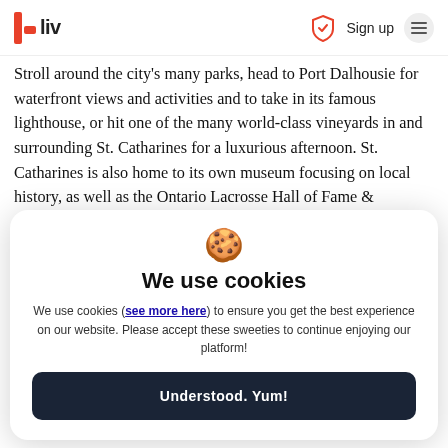liv — Sign up
Stroll around the city's many parks, head to Port Dalhousie for waterfront views and activities and to take in its famous lighthouse, or hit one of the many world-class vineyards in and surrounding St. Catharines for a luxurious afternoon. St. Catharines is also home to its own museum focusing on local history, as well as the Ontario Lacrosse Hall of Fame &
[Figure (screenshot): Cookie consent modal dialog with cookie emoji, title 'We use cookies', body text with 'see more here' link, and 'Understood. Yum!' button]
bachelor apartments to 1 or 2 bedroom apartment for rent.